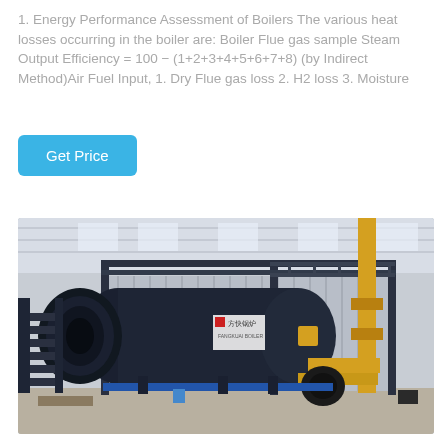1. Energy Performance Assessment of Boilers The various heat losses occurring in the boiler are: Boiler Flue gas sample Steam Output Efficiency = 100 − (1+2+3+4+5+6+7+8) (by Indirect Method)Air Fuel Input, 1. Dry Flue gas loss 2. H2 loss 3. Moisture
[Figure (other): A blue button labeled 'Get Price' on a light blue/teal rounded rectangle background]
[Figure (photo): Industrial boiler installation in a factory warehouse. A large cylindrical horizontal boiler (dark navy/black) with a circular front burner assembly, mounted on a corrugated metal silver enclosure. Yellow gas pipes run vertically and horizontally on the right side. Black structural steel framework, metal staircases on the left. Factory hall with skylights visible in background.]